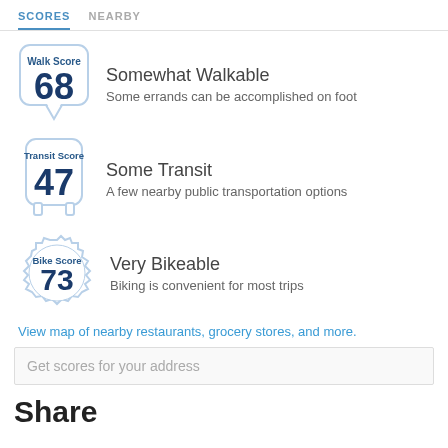SCORES  NEARBY
[Figure (infographic): Walk Score badge showing score of 68]
Somewhat Walkable
Some errands can be accomplished on foot
[Figure (infographic): Transit Score badge showing score of 47]
Some Transit
A few nearby public transportation options
[Figure (infographic): Bike Score badge showing score of 73]
Very Bikeable
Biking is convenient for most trips
View map of nearby restaurants, grocery stores, and more.
Get scores for your address
Share